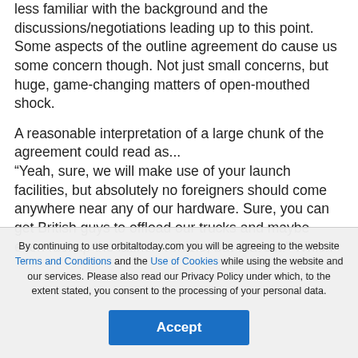less familiar with the background and the discussions/negotiations leading up to this point. Some aspects of the outline agreement do cause us some concern though. Not just small concerns, but huge, game-changing matters of open-mouthed shock.

A reasonable interpretation of a large chunk of the agreement could read as...
“Yeah, sure, we will make use of your launch facilities, but absolutely no foreigners should come anywhere near any of our hardware. Sure, you can get British guys to offload our trucks and maybe even fuel up the launch vehicle, but that’s it.” Which
By continuing to use orbitaltoday.com you will be agreeing to the website Terms and Conditions and the Use of Cookies while using the website and our services. Please also read our Privacy Policy under which, to the extent stated, you consent to the processing of your personal data.